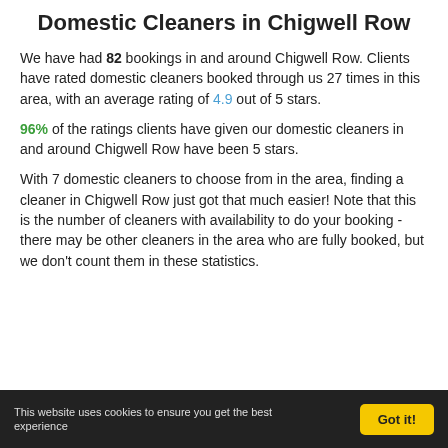Domestic Cleaners in Chigwell Row
We have had 82 bookings in and around Chigwell Row. Clients have rated domestic cleaners booked through us 27 times in this area, with an average rating of 4.9 out of 5 stars.
96% of the ratings clients have given our domestic cleaners in and around Chigwell Row have been 5 stars.
With 7 domestic cleaners to choose from in the area, finding a cleaner in Chigwell Row just got that much easier! Note that this is the number of cleaners with availability to do your booking - there may be other cleaners in the area who are fully booked, but we don't count them in these statistics.
This website uses cookies to ensure you get the best experience Got it!